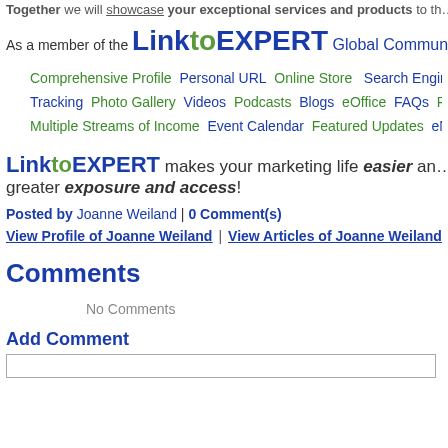Together we will showcase your exceptional services and products to th...
As a member of the LinktoEXPERT Global Community you enjoy:
Comprehensive Profile  Personal URL  Online Store  Search Engine Opt... Tracking  Photo Gallery  Videos  Podcasts  Blogs  eOffice  FAQs  Pro... Multiple Streams of Income  Event Calendar  Featured Updates  eNew...
LinktoEXPERT makes your marketing life easier and greater exposure and access!
Posted by Joanne Weiland | 0 Comment(s)
View Profile of Joanne Weiland | View Articles of Joanne Weiland
Comments
No Comments
Add Comment